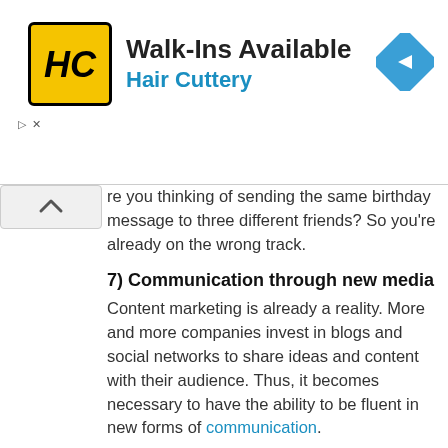[Figure (logo): Hair Cuttery advertisement banner with logo, 'Walk-Ins Available' heading, blue Hair Cuttery text, and a blue map/navigation diamond icon]
re you thinking of sending the same birthday message to three different friends? So you're already on the wrong track.
7) Communication through new media
Content marketing is already a reality. More and more companies invest in blogs and social networks to share ideas and content with their audience. Thus, it becomes necessary to have the ability to be fluent in new forms of communication.
The skills of producing cool presentations and slides, videos, and creating your own content through more agile, dynamic, and less static tools will be evaluated.
8) Programming languages- Forward Thinking skill